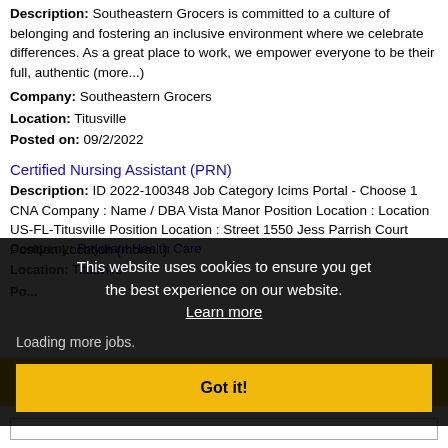Description: Southeastern Grocers is committed to a culture of belonging and fostering an inclusive environment where we celebrate differences. As a great place to work, we empower everyone to be their full, authentic (more...)
Company: Southeastern Grocers
Location: Titusville
Posted on: 09/2/2022
Certified Nursing Assistant (PRN)
Description: ID 2022-100348 Job Category Icims Portal - Choose 1 CNA Company : Name / DBA Vista Manor Position Location : Location US-FL-Titusville Position Location : Street 1550 Jess Parrish Court Position Location (more...)
Company: Raydiant Health Care
Location: Titusville
Posted on: ...
Loading more jobs.
This website uses cookies to ensure you get the best experience on our website. Learn more
Got it!
Log In | Create An Account
Username: